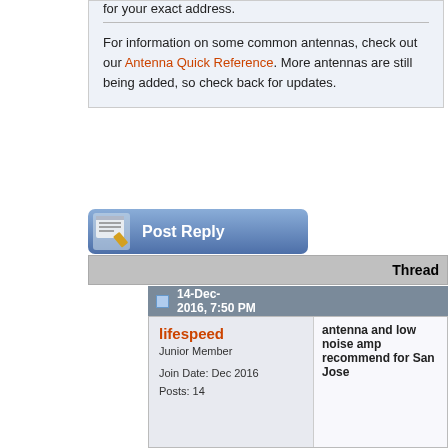for your exact address.
For information on some common antennas, check out our Antenna Quick Reference. More antennas are still being added, so check back for updates.
[Figure (screenshot): Post Reply button with pencil/paper icon on blue gradient background]
Thread
14-Dec-2016, 7:50 PM
lifespeed
Junior Member
Join Date: Dec 2016
Posts: 14
antenna and low noise amp recommend for San Jose